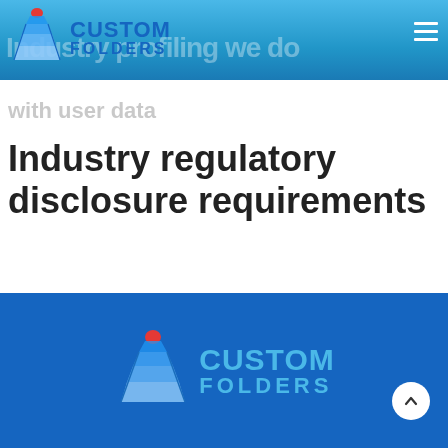[Figure (logo): Custom Folders logo in header with stacked blue folders and red dot, with text CUSTOM FOLDERS]
Industry profiling we do with user data
Industry regulatory disclosure requirements
[Figure (logo): Custom Folders logo in blue footer with stacked blue folders and red dot, with text CUSTOM FOLDERS]